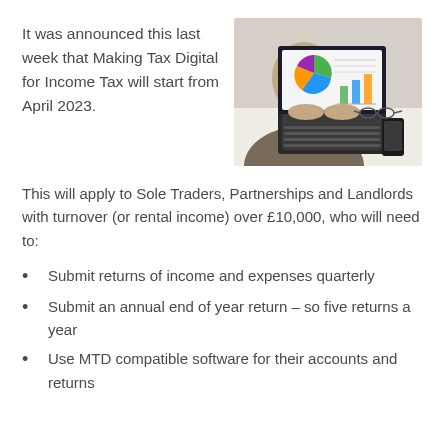It was announced this last week that Making Tax Digital for Income Tax will start from April 2023.
[Figure (photo): Person typing on a laptop with charts/graphs on screen, glasses and smartphone beside laptop on desk]
This will apply to Sole Traders, Partnerships and Landlords with turnover (or rental income) over £10,000, who will need to:
Submit returns of income and expenses quarterly
Submit an annual end of year return – so five returns a year
Use MTD compatible software for their accounts and returns